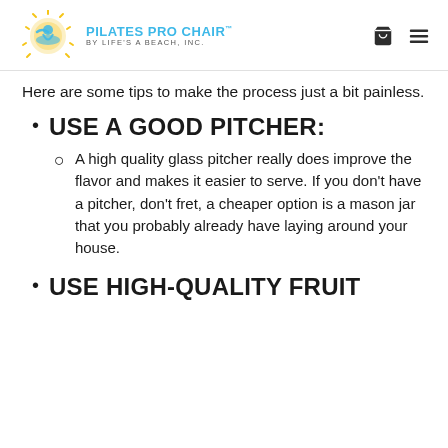PILATES PRO CHAIR BY LIFE'S A BEACH, INC.
Here are some tips to make the process just a bit painless.
USE A GOOD PITCHER:
A high quality glass pitcher really does improve the flavor and makes it easier to serve. If you don't have a pitcher, don't fret, a cheaper option is a mason jar that you probably already have laying around your house.
USE HIGH-QUALITY FRUIT